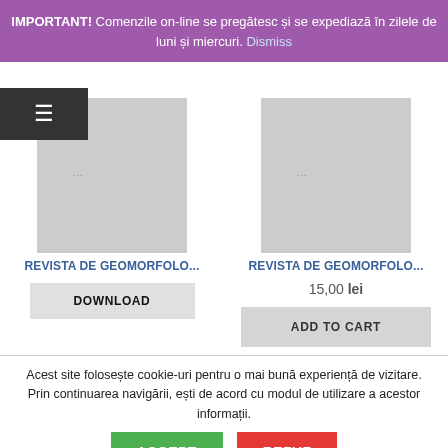IMPORTANT! Comenzile on-line se pregătesc și se expediază în zilele de luni și miercuri. Dismiss
REVISTA DE GEOMORFOLO...
DOWNLOAD
REVISTA DE GEOMORFOLO...
15,00 lei
ADD TO CART
Acest site folosește cookie-uri pentru o mai bună experiență de vizitare. Prin continuarea navigării, ești de acord cu modul de utilizare a acestor informații.
ACCEPT
REFUZ